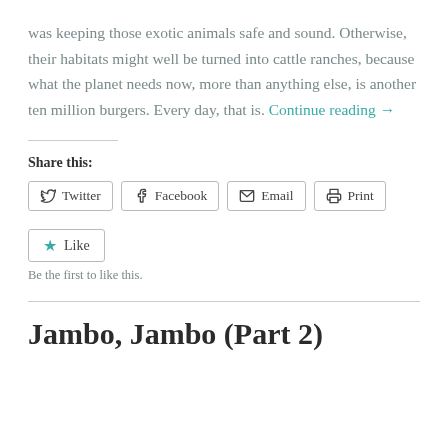was keeping those exotic animals safe and sound. Otherwise, their habitats might well be turned into cattle ranches, because what the planet needs now, more than anything else, is another ten million burgers. Every day, that is. Continue reading →
Share this:
Twitter   Facebook   Email   Print
Like
Be the first to like this.
Jambo, Jambo (Part 2)